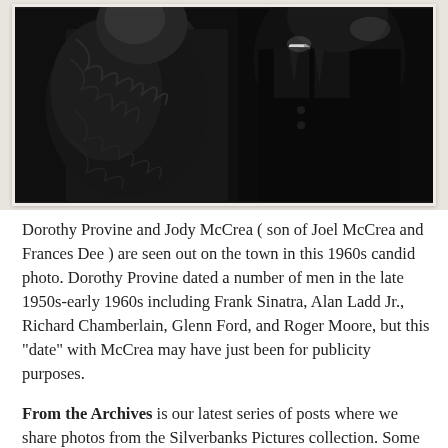[Figure (photo): Black and white candid photograph showing Dorothy Provine and Jody McCrea in close-up, dressed in winter/formal clothing, 1960s style.]
Dorothy Provine and Jody McCrea ( son of Joel McCrea and Frances Dee ) are seen out on the town in this 1960s candid photo. Dorothy Provine dated a number of men in the late 1950s-early 1960s including Frank Sinatra, Alan Ladd Jr., Richard Chamberlain, Glenn Ford, and Roger Moore, but this "date" with McCrea may have just been for publicity purposes.
From the Archives is our latest series of posts where we share photos from the Silverbanks Pictures collection. Some of these may